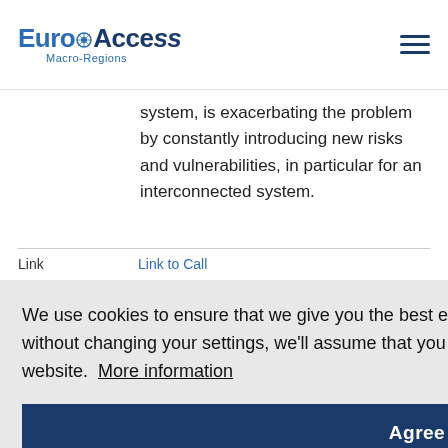EuroAccess Macro-Regions
system, is exacerbating the problem by constantly introducing new risks and vulnerabilities, in particular for an interconnected system.
Link   Link to Call
Energy
tion, & & orts, isk :ry, n
We use cookies to ensure that we give you the best experience on our website. If you continue without changing your settings, we'll assume that you are happy to receive all cookies on the website.  More information
Agree
Rights, People with Disabilities, Social